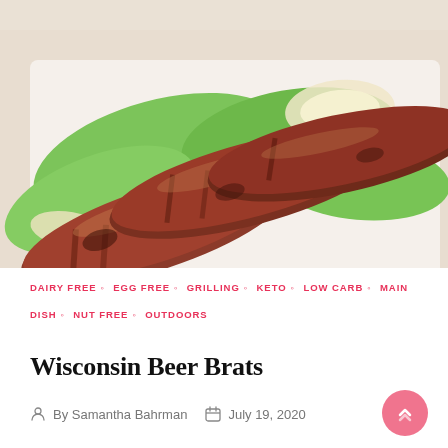[Figure (photo): Close-up photo of grilled bratwurst sausages nestled in green lettuce leaves with caramelized onions on a white tray]
DAIRY FREE ◦ EGG FREE ◦ GRILLING ◦ KETO ◦ LOW CARB ◦ MAIN DISH ◦ NUT FREE ◦ OUTDOORS
Wisconsin Beer Brats
By Samantha Bahrman    July 19, 2020